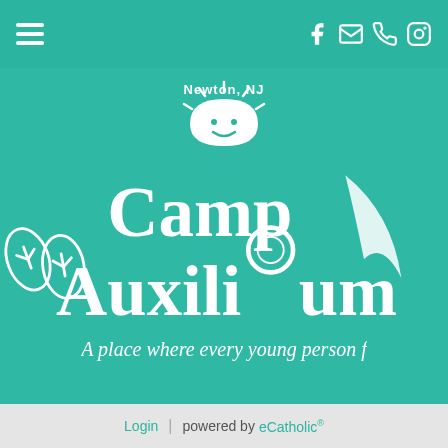Camp Auxilium website header with hamburger menu and social icons (Facebook, Email, Phone, Instagram)
[Figure (logo): Camp Auxilium logo with sun, flip flops, and lifesaver ring on teal background. Text: Newton, NJ / Camp / Auxilium. Tagline: A place where every young person f[feels valued]]
14 Old Swartswood Road | Newton, NJ • Ph. (97...)
• Email: summercamp@campauxilium...
Login | powered by eCatholic®